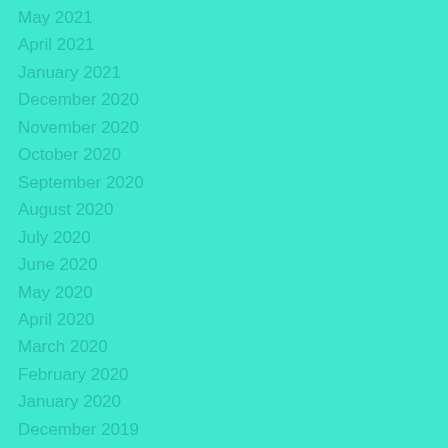May 2021
April 2021
January 2021
December 2020
November 2020
October 2020
September 2020
August 2020
July 2020
June 2020
May 2020
April 2020
March 2020
February 2020
January 2020
December 2019
November 2019
September 2019
August 2019
July 2019
June 2019
May 2019
April 2019